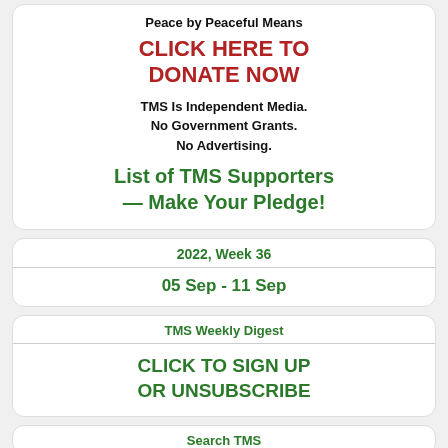Peace by Peaceful Means
CLICK HERE TO DONATE NOW
TMS Is Independent Media. No Government Grants. No Advertising.
List of TMS Supporters — Make Your Pledge!
2022, Week 36
05 Sep - 11 Sep
TMS Weekly Digest
CLICK TO SIGN UP OR UNSUBSCRIBE
Search TMS